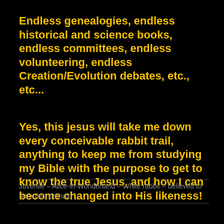Endless genealogies, endless historical and science books, endless committees, endless volunteering, endless Creation/Evolution debates, etc., etc...
Yes, this jesus will take me down every conceivable rabbit trail, anything to keep me from studying my Bible with the purpose to get to know the true Jesus, and how I can become changed into His likeness!
Juvenile – Alice-in-Wonderland – White rabbit – believed to be public domain